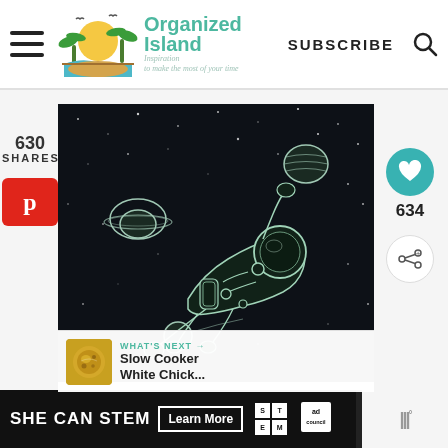Organized Island — Inspiration to make the most of your time | SUBSCRIBE
[Figure (illustration): Illustration of an astronaut floating in dark space with planets including Saturn and another planet, drawn in a sketch/outline style on a dark background]
630 SHARES
[Figure (other): Pinterest share button (red P icon)]
[Figure (other): Heart/like button (teal circle) with count 634 below, and share button]
634
WHAT'S NEXT → Slow Cooker White Chick...
[Figure (infographic): SHE CAN STEM advertisement banner with Learn More button, STEM logo grid, ad council logo]